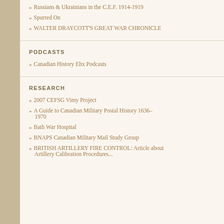Russians & Ukrainians in the C.E.F. 1914-1919
Spurred On
WALTER DRAYCOTT'S GREAT WAR CHRONICLE
PODCASTS
Canadian History Ehx Podcasts
RESEARCH
2007 CEFSG Vimy Project
A Guide to Canadian Military Postal History 1636–1970
Bath War Hospital
BNAPS Canadian Military Mail Study Group
BRITISH ARTILLERY FIRE CONTROL: Article about Artillery Calibration Procedures...